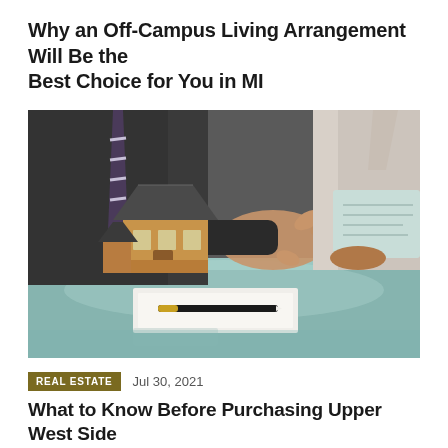Why an Off-Campus Living Arrangement Will Be the Best Choice for You in MI
[Figure (photo): Two people at a glass table — one gesturing with hand near a small model house, the other holding documents. A pen rests on paper in the foreground.]
REAL ESTATE   Jul 30, 2021
What to Know Before Purchasing Upper West Side Condos in NYC